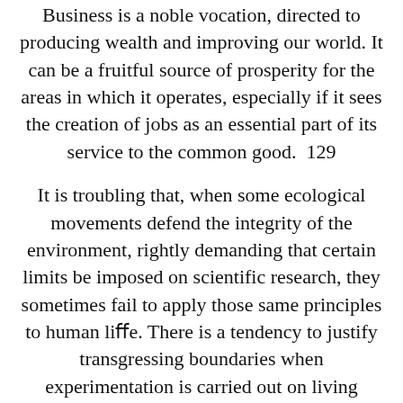Business is a noble vocation, directed to producing wealth and improving our world. It can be a fruitful source of prosperity for the areas in which it operates, especially if it sees the creation of jobs as an essential part of its service to the common good.  129
It is troubling that, when some ecological movements defend the integrity of the environment, rightly demanding that certain limits be imposed on scientific research, they sometimes fail to apply those same principles to human life. There is a tendency to justify transgressing boundaries when experimentation is carried out on living human embryos. We forget that the